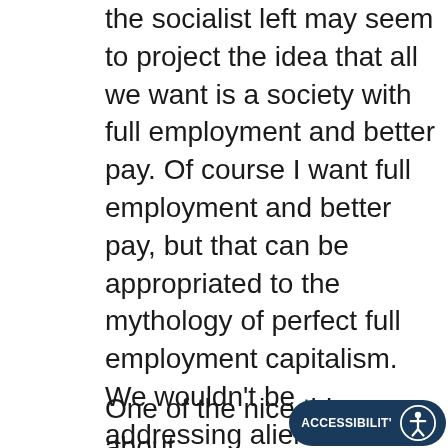the socialist left may seem to project the idea that all we want is a society with full employment and better pay. Of course I want full employment and better pay, but that can be appropriated to the mythology of perfect full employment capitalism. We wouldn't be addressing alienated labor, the degradation of work, the fabric of our daily lives, and the exhaustion of people by mundane, boring, incredibly dreary and tedious labor processes without any diversity or creativity to them.
One of the nice things about into this discussions about monsters